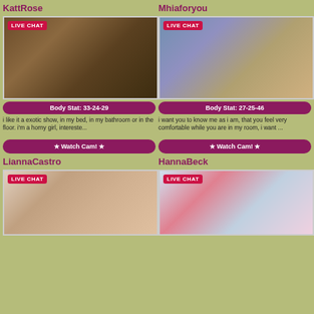KattRose
[Figure (photo): Live chat photo of KattRose]
Body Stat: 33-24-29
i like it a exotic show, in my bed, in my bathroom or in the floor. i'm a horny girl, intereste...
★ Watch Cam! ★
Mhiaforyou
[Figure (photo): Live chat photo of Mhiaforyou]
Body Stat: 27-25-46
i want you to know me as i am, that you feel very comfortable while you are in my room, i want ...
★ Watch Cam! ★
LiannaCastro
[Figure (photo): Live chat photo of LiannaCastro]
HannaBeck
[Figure (photo): Live chat photo of HannaBeck]